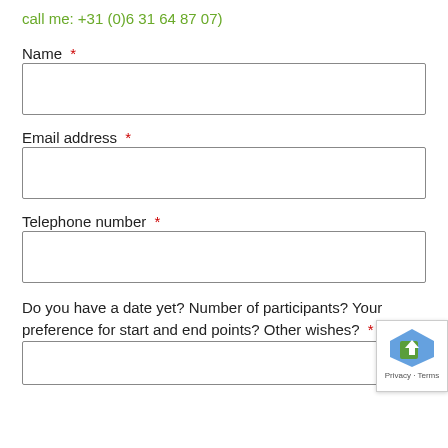call me: +31 (0)6 31 64 87 07)
Name *
Email address *
Telephone number *
Do you have a date yet? Number of participants? Your preference for start and end points? Other wishes? *